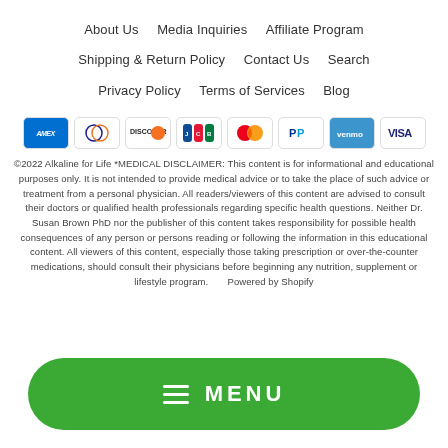About Us   Media Inquiries   Affiliate Program
Shipping & Return Policy   Contact Us   Search
Privacy Policy   Terms of Services   Blog
[Figure (other): Payment method icons: American Express, Diners Club, Discover, JCB, Mastercard, PayPal, Venmo, Visa]
©2022 Alkaline for Life *MEDICAL DISCLAIMER: This content is for informational and educational purposes only. It is not intended to provide medical advice or to take the place of such advice or treatment from a personal physician. All readers/viewers of this content are advised to consult their doctors or qualified health professionals regarding specific health questions. Neither Dr. Susan Brown PhD nor the publisher of this content takes responsibility for possible health consequences of any person or persons reading or following the information in this educational content. All viewers of this content, especially those taking prescription or over-the-counter medications, should consult their physicians before beginning any nutrition, supplement or lifestyle program.      Powered by Shopify